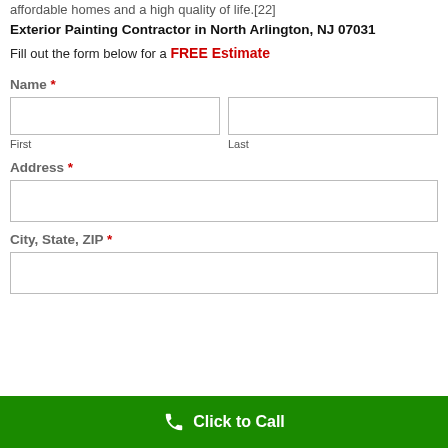affordable homes and a high quality of life.[22]
Exterior Painting Contractor in North Arlington, NJ 07031
Fill out the form below for a FREE Estimate
Name *
First    Last
Address *
City, State, ZIP *
Click to Call